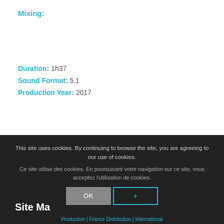Mixing:
Duration: 1h37
Sound Format: 5.1
Production Year: 2017
This site uses cookies. By continuing to browse the site, you are agreeing to our use of cookies.
Ce site utilise des cookies. En poursuivant votre navigation sur ce site, vous acceptez l'utilisation de cookies.
OK
+
Site Ma
Production | France Distribution | International